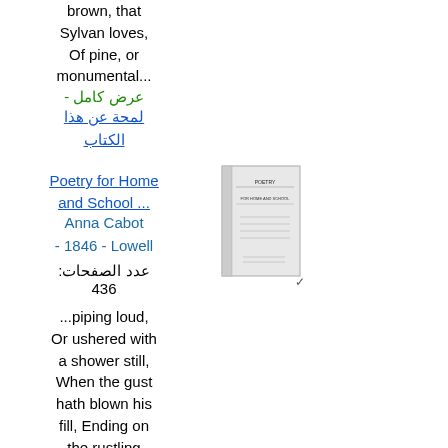brown, that Sylvan loves, Of pine, or monumental...
عرض كامل - لمحة عن هذا الكتاب
Poetry for Home and School ...
Anna Cabot - 1846 - Lowell
عدد الصفحات: 436
...piping loud, Or ushered with a shower still, When the gust hath blown his fill, Ending on the rustling leaves, With minute drops